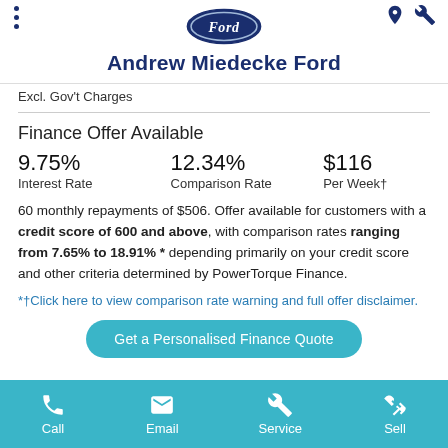Andrew Miedecke Ford
Excl. Gov't Charges
Finance Offer Available
9.75% Interest Rate   12.34% Comparison Rate   $116 Per Week†
60 monthly repayments of $506. Offer available for customers with a credit score of 600 and above, with comparison rates ranging from 7.65% to 18.91% * depending primarily on your credit score and other criteria determined by PowerTorque Finance.
*†Click here to view comparison rate warning and full offer disclaimer.
Get a Personalised Finance Quote
Call   Email   Service   Sell